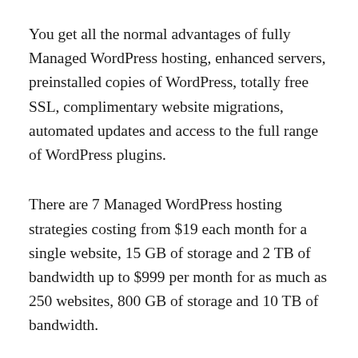You get all the normal advantages of fully Managed WordPress hosting, enhanced servers, preinstalled copies of WordPress, totally free SSL, complimentary website migrations, automated updates and access to the full range of WordPress plugins.
There are 7 Managed WordPress hosting strategies costing from $19 each month for a single website, 15 GB of storage and 2 TB of bandwidth up to $999 per month for as much as 250 websites, 800 GB of storage and 10 TB of bandwidth.
While part of the page says there are no traffic limitations, plans have actually bandwidth limits